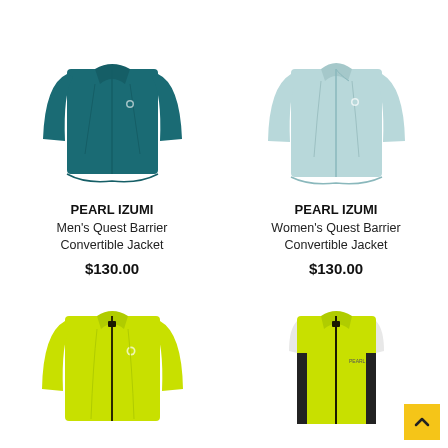[Figure (photo): PEARL IZUMI Men's Quest Barrier Convertible Jacket in teal/dark blue color]
PEARL IZUMI
Men's Quest Barrier Convertible Jacket
$130.00
[Figure (photo): PEARL IZUMI Women's Quest Barrier Convertible Jacket in light blue/mint color]
PEARL IZUMI
Women's Quest Barrier Convertible Jacket
$130.00
[Figure (photo): PEARL IZUMI jacket in bright yellow-green/hi-vis color, full zip]
[Figure (photo): PEARL IZUMI vest in bright yellow-green/hi-vis color, full zip]